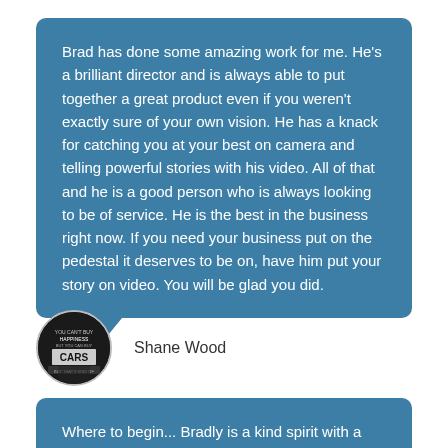Brad has done some amazing work for me. He's a brilliant director and is always able to put together a great product even if you weren't exactly sure of your own vision. He has a knack for catching you at your best on camera and telling powerful stories with his video. All of that and he is a good person who is always looking to be of service. He is the best in the business right now. If you need your business put on the pedestal it deserves to be on, have him put your story on video. You will be glad you did.
[Figure (photo): Circular avatar photo of Shane Wood, standing in front of a sign that reads 'YOU CAN'T BUY HAPPINESS BUT YOU CAN BUY CARS' and other text.]
Shane Wood
Where to begin... Bradly is a kind spirit with a creative talent that can evoke emotions deep within while maintaining a laugh. His work is beautiful, seamless and real. His style allows